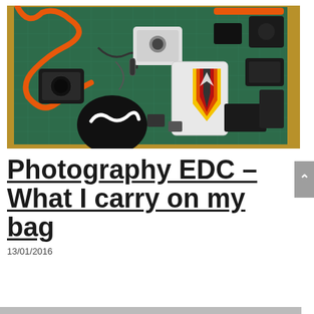[Figure (photo): Overhead flat-lay photo on a green cutting mat on a wooden desk showing various photography EDC items: orange paracord/strap, black camera accessories, USB cables, a white action camera, a smartphone with a colorful arrow sticker, black circular pouch, and other small gadgets.]
Photography EDC – What I carry on my bag
13/01/2016